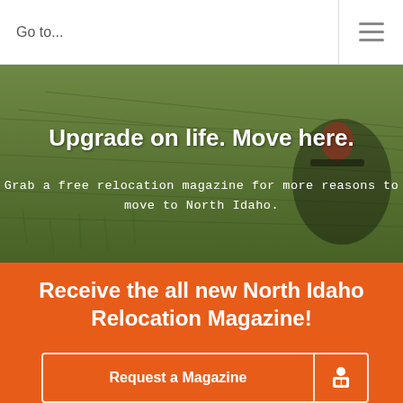Go to...
[Figure (photo): Hero image showing a person on a bicycle riding through green grass fields, with overlaid text about North Idaho relocation]
Upgrade on life. Move here.
Grab a free relocation magazine for more reasons to move to North Idaho.
Receive the all new North Idaho Relocation Magazine!
Request a Magazine